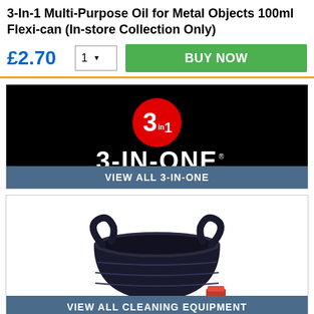3-In-1 Multi-Purpose Oil for Metal Objects 100ml Flexi-can (In-store Collection Only)
£2.70
[Figure (logo): 3-IN-ONE brand logo: red circle with white '3 in 1' text on black background with '3-IN-ONE' in white bold text]
VIEW ALL 3-IN-ONE
[Figure (photo): Black flexible tub/bucket with handles and a small red item in bottom right corner, on white background]
VIEW ALL CLEANING EQUIPMENT